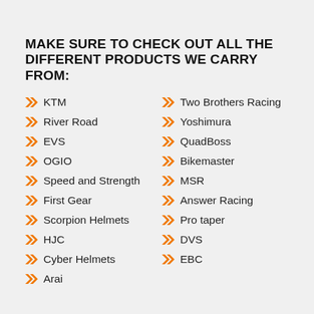MAKE SURE TO CHECK OUT ALL THE DIFFERENT PRODUCTS WE CARRY FROM:
KTM
River Road
EVS
OGIO
Speed and Strength
First Gear
Scorpion Helmets
HJC
Cyber Helmets
Arai
Two Brothers Racing
Yoshimura
QuadBoss
Bikemaster
MSR
Answer Racing
Pro taper
DVS
EBC